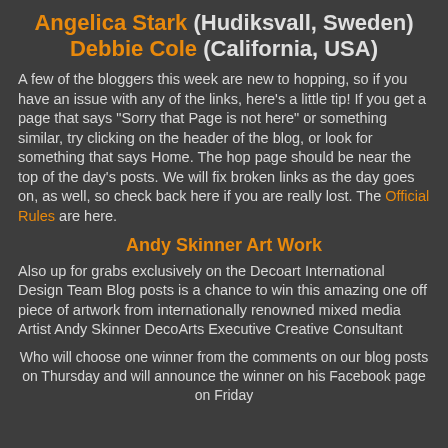Angelica Stark (Hudiksvall, Sweden) Debbie Cole (California, USA)
A few of the bloggers this week are new to hopping, so if you have an issue with any of the links, here's a little tip! If you get a page that says "Sorry that Page is not here" or something similar, try clicking on the header of the blog, or look for something that says Home. The hop page should be near the top of the day's posts. We will fix broken links as the day goes on, as well, so check back here if you are really lost. The Official Rules are here.
Andy Skinner Art Work
Also up for grabs exclusively on the Decoart International Design Team Blog posts is a chance to win this amazing one off piece of artwork from internationally renowned mixed media Artist Andy Skinner DecoArts Executive Creative Consultant
Who will choose one winner from the comments on our blog posts on Thursday and will announce the winner on his Facebook page on Friday